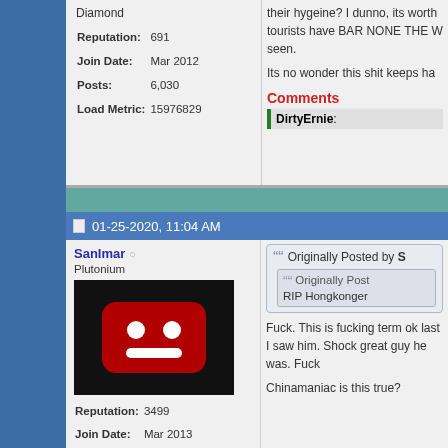Diamond
Reputation: 691
Join Date: Mar 2012
Posts: 6,030
Load Metric: 15976829
their hygeine? I dunno, its worth tourists have BAR NONE THE W seen.
Its no wonder this shit keeps ha
Comments
DirtyErnie:
01-25-2020, 11:04 AM
SanImar
Plutonium
[Figure (screenshot): YouTube error image - red rectangle with sad face (two white circles as eyes, white rectangle as mouth) on black background]
Reputation: 3499
Join Date: Mar 2013
Originally Posted by S
  Originally Post
  RIP Hongkonger
Fuck. This is fucking term ok last I saw him. Shock great guy he was. Fuck
Chinamaniac is this true?